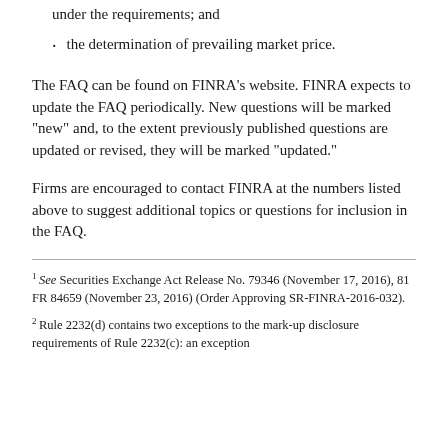under the requirements; and
the determination of prevailing market price.
The FAQ can be found on FINRA's website. FINRA expects to update the FAQ periodically. New questions will be marked "new" and, to the extent previously published questions are updated or revised, they will be marked "updated."
Firms are encouraged to contact FINRA at the numbers listed above to suggest additional topics or questions for inclusion in the FAQ.
1. See Securities Exchange Act Release No. 79346 (November 17, 2016), 81 FR 84659 (November 23, 2016) (Order Approving SR-FINRA-2016-032).
2. Rule 2232(d) contains two exceptions to the mark-up disclosure requirements of Rule 2232(c): an exception